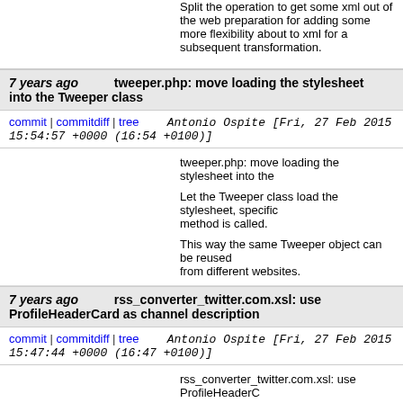Split the operation to get some xml out of the web preparation for adding some more flexibility about to xml for a subsequent transformation.
7 years ago   tweeper.php: move loading the stylesheet into the Tweeper class
commit | commitdiff | tree   Antonio Ospite [Fri, 27 Feb 2015 15:54:57 +0000 (16:54 +0100)]
tweeper.php: move loading the stylesheet into the

Let the Tweeper class load the stylesheet, specific method is called.

This way the same Tweeper object can be reused from different websites.
7 years ago   rss_converter_twitter.com.xsl: use ProfileHeaderCard as channel description
commit | commitdiff | tree   Antonio Ospite [Fri, 27 Feb 2015 15:47:44 +0000 (16:47 +0100)]
rss_converter_twitter.com.xsl: use ProfileHeaderC
7 years ago   Strip trailing newlines
commit | commitdiff | tree   Antonio Ospite [Fri, 27 Feb 2015